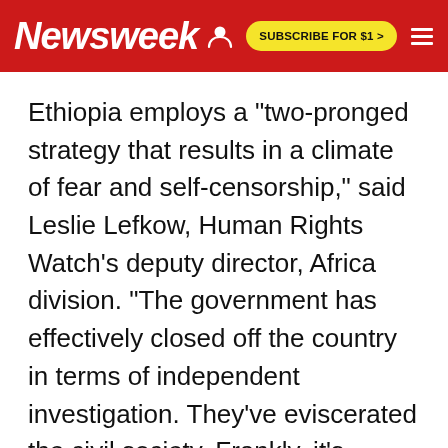Newsweek | SUBSCRIBE FOR $1 >
Ethiopia employs a "two-pronged strategy that results in a climate of fear and self-censorship," said Leslie Lefkow, Human Rights Watch's deputy director, Africa division. "The government has effectively closed off the country in terms of independent investigation. They've eviscerated the civil society. Frankly, it's shocking."
Lefkow said HRW, one of the few